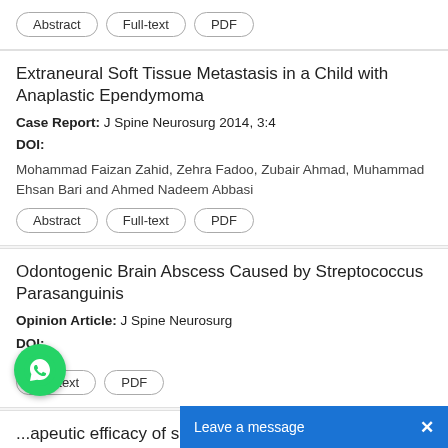Abstract | Full-text | PDF
Extraneural Soft Tissue Metastasis in a Child with Anaplastic Ependymoma
Case Report: J Spine Neurosurg 2014, 3:4
DOI:
Mohammad Faizan Zahid, Zehra Fadoo, Zubair Ahmad, Muhammad Ehsan Bari and Ahmed Nadeem Abbasi
Abstract | Full-text | PDF
Odontogenic Brain Abscess Caused by Streptococcus Parasanguinis
Opinion Article: J Spine Neurosurg
DOI:
Full-text | PDF
...apeutic efficacy of selective nerve root injections for cervical radic